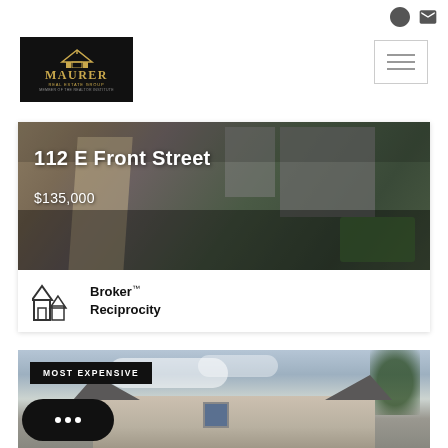Maurer Real Estate Group — navigation header
[Figure (logo): Maurer Real Estate Group logo — black background with gold house icon and gold text]
112 E Front Street
$135,000
[Figure (photo): Aerial view of property at 112 E Front Street showing street and buildings]
[Figure (logo): Broker Reciprocity logo with house icon]
Broker™ Reciprocity
[Figure (photo): Photo of a house labeled MOST EXPENSIVE with sky background and trees]
MOST EXPENSIVE